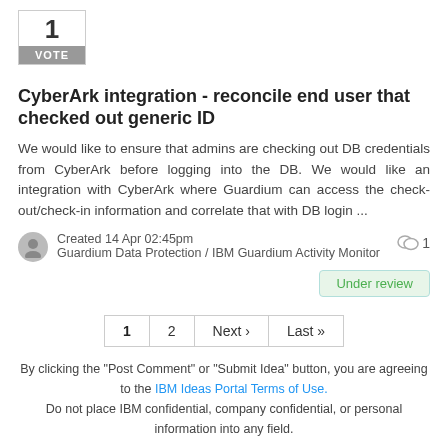[Figure (other): Vote box showing number 1 with a grey VOTE button below]
CyberArk integration - reconcile end user that checked out generic ID
We would like to ensure that admins are checking out DB credentials from CyberArk before logging into the DB. We would like an integration with CyberArk where Guardium can access the check-out/check-in information and correlate that with DB login ...
Created 14 Apr 02:45pm
Guardium Data Protection / IBM Guardium Activity Monitor
Under review
1  2  Next ›  Last »
By clicking the "Post Comment" or "Submit Idea" button, you are agreeing to the IBM Ideas Portal Terms of Use. Do not place IBM confidential, company confidential, or personal information into any field.